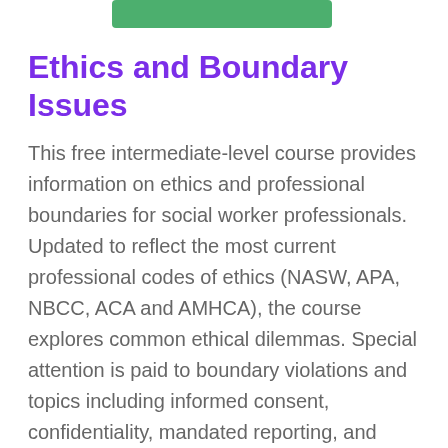[Figure (other): Green rounded rectangle bar at top of page]
Ethics and Boundary Issues
This free intermediate-level course provides information on ethics and professional boundaries for social worker professionals. Updated to reflect the most current professional codes of ethics (NASW, APA, NBCC, ACA and AMHCA), the course explores common ethical dilemmas. Special attention is paid to boundary violations and topics including informed consent, confidentiality, mandated reporting, and HIPAA. Case studies throughout the learning materials highlight key learning points. This course is for Social Workers, Psychologists, Counselors, Marriage & Family Therapists, Addiction